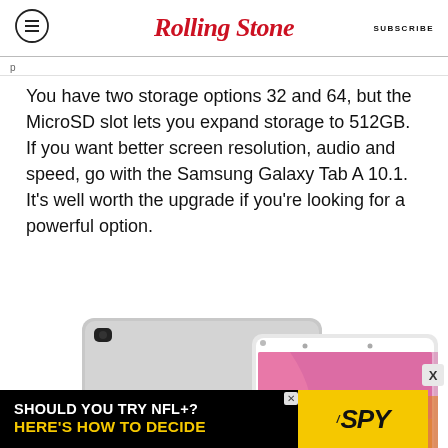Rolling Stone | SUBSCRIBE
You have two storage options 32 and 64, but the MicroSD slot lets you expand storage to 512GB. If you want better screen resolution, audio and speed, go with the Samsung Galaxy Tab A 10.1. It’s well worth the upgrade if you’re looking for a powerful option.
[Figure (photo): Samsung tablet shown from the back (silver) and front (with colorful pink/orange/yellow wallpaper), side by side.]
[Figure (screenshot): Advertisement banner: black background with text 'SHOULD YOU TRY NFL+? HERE’S HOW TO DECIDE' and yellow SPY logo on the right.]